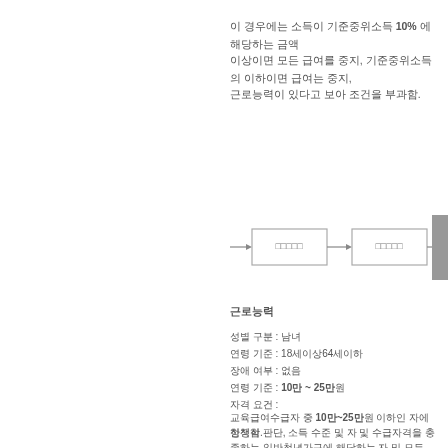이 경우에는 소득이 기준중위소득 10% 에 해당하는 금액
이상이면 모든 급여를 중지, 기준중위소득의 이하이면 급여는 중지,
근로능력이 있다고 보아 조건을 부과함.
[Figure (flowchart): Flowchart with two process boxes connected by arrows, with a third dark box partially visible on the right]
근로능력
성별 구분 : 남녀
연령 기준 : 18세이상64세이하
장애 여부 : 없음
연령 기준 : 10만 ~ 25만원
자격 요건 :
교육급여수급자 중 10만~25만원 이하인 자에 한정함.
정책적 판단, 소득 수준 및 자 및 수급자격을 충족하는 일반청년가구에 해당하는 자 및 모든